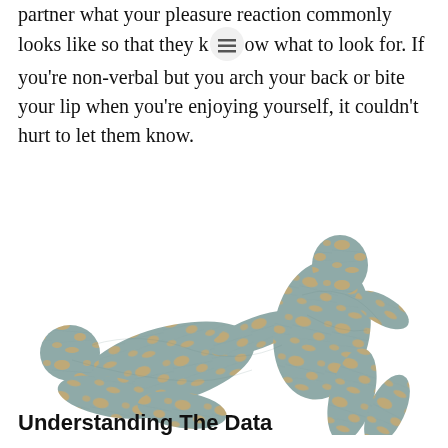partner what your pleasure reaction commonly looks like so that they know what to look for. If you're non-verbal but you arch your back or bite your lip when you're enjoying yourself, it couldn't hurt to let them know.
[Figure (illustration): Silhouette illustration of two human figures in an intimate pose, filled with a map texture showing geographic regions in teal/green and orange/gold colors.]
Understanding The Data